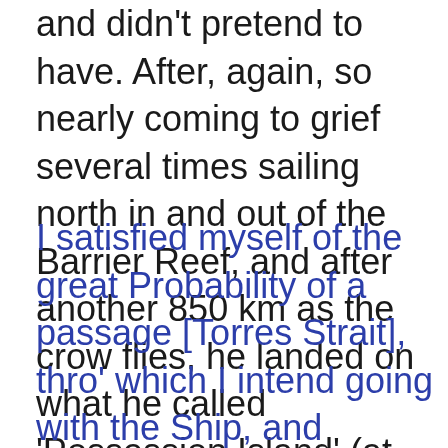and didn't pretend to have. After, again, so nearly coming to grief several times sailing north in and out of the Barrier Reef, and after another 850 km as the crow flies, he landed on what he called 'Possession Island' (at left, with memorial).
I satisfied myself of the great Probability of a passage [Torres Strait], thro' which I intend going with the Ship, and therefore may land no more upon this Eastern coast of New Holland, and on the Western side I can make no new discovery, the honour of which belongs to the Dutch Navigators, but the Eastern Coast from the Latitude of 38 degrees South down to this place, I am confident, was never seen or Visited by any European before us; and notwithstanding I had in the Name of his Majesty taken possession of several places upon this Coast, I now once More hoisted English Colours, and in the Name of His